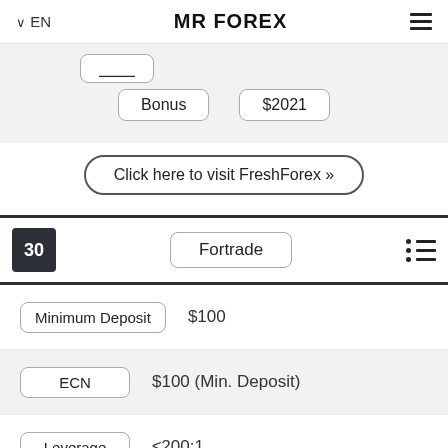EN  MR FOREX
Bonus  $2021
Click here to visit FreshForex »
30  Fortrade
Minimum Deposit  $100
ECN  $100 (Min. Deposit)
Leverage  ≤200:1
MT4  ✓